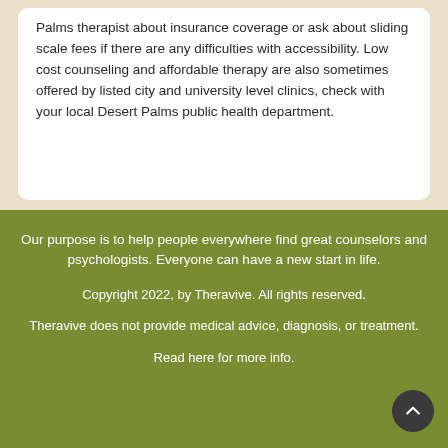Palms therapist about insurance coverage or ask about sliding scale fees if there are any difficulties with accessibility. Low cost counseling and affordable therapy are also sometimes offered by listed city and university level clinics, check with your local Desert Palms public health department.
Our purpose is to help people everywhere find great counselors and psychologists. Everyone can have a new start in life.
Copyright 2022, by Theravive. All rights reserved.
Theravive does not provide medical advice, diagnosis, or treatment.
Read here for more info.